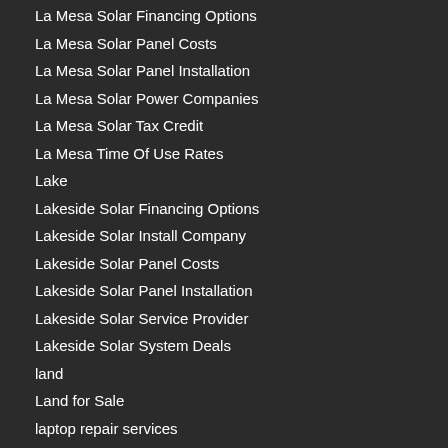La Mesa Solar Financing Options
La Mesa Solar Panel Costs
La Mesa Solar Panel Installation
La Mesa Solar Power Companies
La Mesa Solar Tax Credit
La Mesa Time Of Use Rates
Lake
Lakeside Solar Financing Options
Lakeside Solar Install Company
Lakeside Solar Panel Costs
Lakeside Solar Panel Installation
Lakeside Solar Service Provider
Lakeside Solar System Deals
land
Land for Sale
laptop repair services
Lasik Eye Surgery San Diego